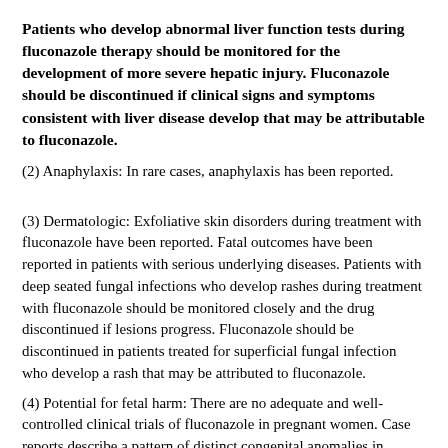Patients who develop abnormal liver function tests during fluconazole therapy should be monitored for the development of more severe hepatic injury. Fluconazole should be discontinued if clinical signs and symptoms consistent with liver disease develop that may be attributable to fluconazole.
(2) Anaphylaxis: In rare cases, anaphylaxis has been reported.
(3) Dermatologic: Exfoliative skin disorders during treatment with fluconazole have been reported. Fatal outcomes have been reported in patients with serious underlying diseases. Patients with deep seated fungal infections who develop rashes during treatment with fluconazole should be monitored closely and the drug discontinued if lesions progress. Fluconazole should be discontinued in patients treated for superficial fungal infection who develop a rash that may be attributed to fluconazole.
(4) Potential for fetal harm: There are no adequate and well-controlled clinical trials of fluconazole in pregnant women. Case reports describe a pattern of distinct congenital anomalies in infants exposed in utero to high dose maternal fluconazole (400 to 800 mg/day) during most or all of the first trimester. These reported anomalies are similar to those seen in animal studies. If